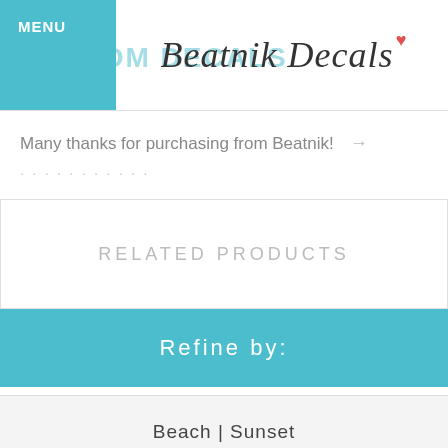MENU | CUSTOM DECALS | Beatnik Decals
Many thanks for purchasing from Beatnik!
RELATED PRODUCTS
Refine by:
Beach | Sunset
Custom No...